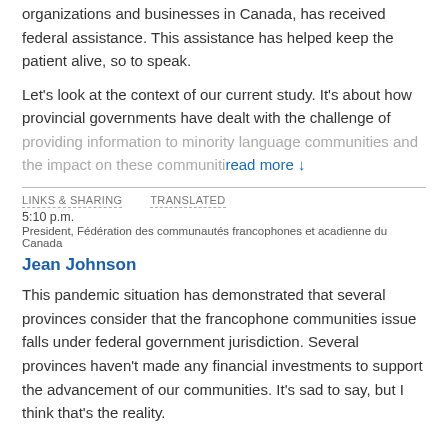organizations and businesses in Canada, has received federal assistance. This assistance has helped keep the patient alive, so to speak.
Let's look at the context of our current study. It's about how provincial governments have dealt with the challenge of providing information to minority language communities and the impact on these communities read more ↓
LINKS & SHARING    TRANSLATED
5:10 p.m.
President, Fédération des communautés francophones et acadienne du Canada
Jean Johnson
This pandemic situation has demonstrated that several provinces consider that the francophone communities issue falls under federal government jurisdiction. Several provinces haven't made any financial investments to support the advancement of our communities. It's sad to say, but I think that's the reality.